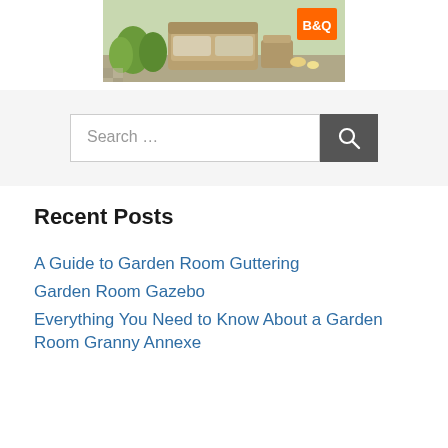[Figure (photo): Garden furniture/rattan sofa set in an outdoor setting with plants, and a B&Q orange logo in the top right corner of the image]
Search …
Recent Posts
A Guide to Garden Room Guttering
Garden Room Gazebo
Everything You Need to Know About a Garden Room Granny Annexe